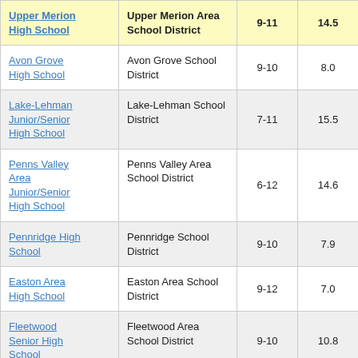| School | District | Grades | Value1 | ... |
| --- | --- | --- | --- | --- |
| Upper Merion High School | Upper Merion Area School District | 9-11 | 14.5 |  |
| Avon Grove High School | Avon Grove School District | 9-10 | 8.0 |  |
| Lake-Lehman Junior/Senior High School | Lake-Lehman School District | 7-11 | 15.5 |  |
| Penns Valley Area Junior/Senior High School | Penns Valley Area School District | 6-12 | 14.6 |  |
| Pennridge High School | Pennridge School District | 9-10 | 7.9 |  |
| Easton Area High School | Easton Area School District | 9-12 | 7.0 |  |
| Fleetwood Senior High School | Fleetwood Area School District | 9-10 | 10.8 |  |